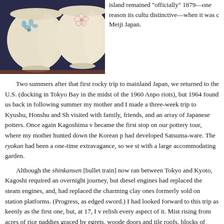[Figure (photo): Two ceramic tea bowls with blue floral designs on a dark background]
island remained “officially” 1879—one reason its cultu distinctive—when it was c Meiji Japan.
Two summers after that first rocky trip to mainland Japan, we returned to the U.S. (docking in Tokyo Bay in the midst of the 1960 Anpo riots), but 1964 found us back in following summer my mother and I made a three-week trip to Kyushu, Honshu and Sh visited with family, friends, and an array of Japanese potters. Once again Kagoshima v became the first stop on our pottery tour, where my mother hunted down the Korean p had developed Satsuma-ware. The ryokan had been a one-time extravagance, so we st with a large accommodating garden.
Although the shinkansen [bullet train] now ran between Tokyo and Kyoto, Kagoshi required an overnight journey, but diesel engines had replaced the steam engines, and, had replaced the charming clay ones formerly sold on station platforms. (Progress, as edged sword.) I had looked forward to this trip as keenly as the first one, but, at 17, I v relish every aspect of it. Mist rising from acres of rice paddies graced by egrets, woode doors and tile roofs, blocks of traditional wood-framed storefronts with their goods ou see and living quarters—with a cup of green tea for special guests—behind the store—